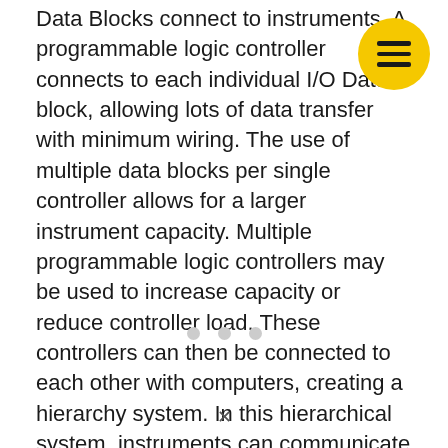Data Blocks connect to instruments. A programmable logic controller connects to each individual I/O Data block, allowing lots of data transfer with minimum wiring. The use of multiple data blocks per single controller allows for a larger instrument capacity. Multiple programmable logic controllers may be used to increase capacity or reduce controller load. These controllers can then be connected to each other with computers, creating a hierarchy system. In this hierarchical system, instruments can communicate with each other while also receiving instructions from the computer or computers.
[Figure (other): Yellow circular menu button with three horizontal bars (hamburger icon) in the top-right corner]
[Figure (other): Three small gray dots in a horizontal row, indicating pagination or carousel navigation]